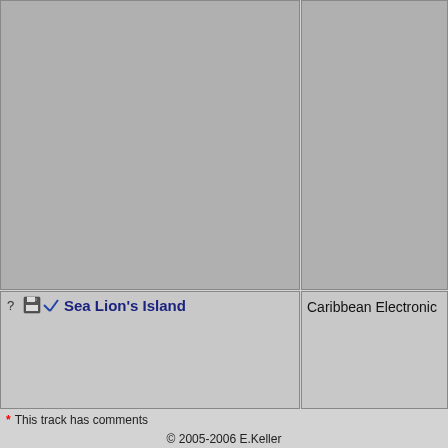[Figure (screenshot): Top-left grey panel, part of a software UI layout]
[Figure (screenshot): Top-right grey panel, part of a software UI layout]
Sea Lion's Island
Caribbean Electronic
* This track has comments
© 2005-2006 E.Keller